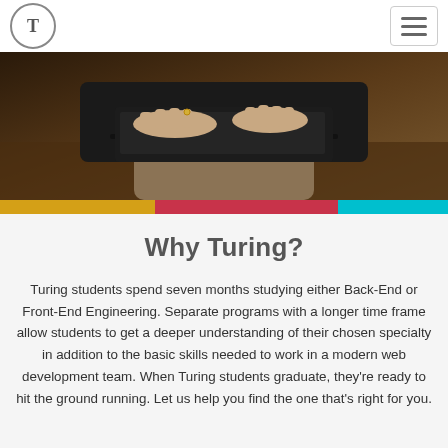T (Turing logo) | hamburger menu
[Figure (photo): Person sitting and typing on a laptop keyboard, dark clothing, brown pants, warm background lighting]
Why Turing?
Turing students spend seven months studying either Back-End or Front-End Engineering. Separate programs with a longer time frame allow students to get a deeper understanding of their chosen specialty in addition to the basic skills needed to work in a modern web development team. When Turing students graduate, they're ready to hit the ground running. Let us help you find the one that's right for you.